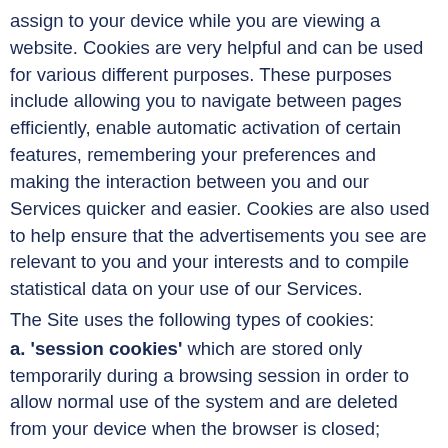assign to your device while you are viewing a website. Cookies are very helpful and can be used for various different purposes. These purposes include allowing you to navigate between pages efficiently, enable automatic activation of certain features, remembering your preferences and making the interaction between you and our Services quicker and easier. Cookies are also used to help ensure that the advertisements you see are relevant to you and your interests and to compile statistical data on your use of our Services.
The Site uses the following types of cookies:
a. 'session cookies' which are stored only temporarily during a browsing session in order to allow normal use of the system and are deleted from your device when the browser is closed;